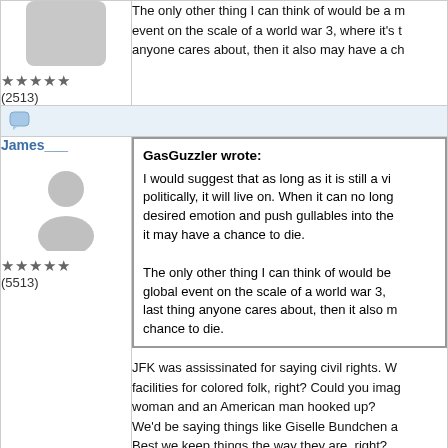★★★★★
(2513)
The only other thing I can think of would be a massive global event on the scale of a world war 3, where it's the last thing anyone cares about, then it also may have a chance to die.
James___
★★★★★
(5513)
GasGuzzler wrote:
I would suggest that as long as it is still a viable tool politically, it will live on. When it can no longer evoke the desired emotion and push gullables into the desired action, it may have a chance to die.

The only other thing I can think of would be a massive global event on the scale of a world war 3, where it's the last thing anyone cares about, then it also may have a chance to die.
JFK was assissinated for saying civil rights. We'd have separate facilities for colored folk, right? Could you imagine if a Brazilian woman and an American man hooked up?
We'd be saying things like Giselle Bundchen and
Best we keep things the way they are, right?